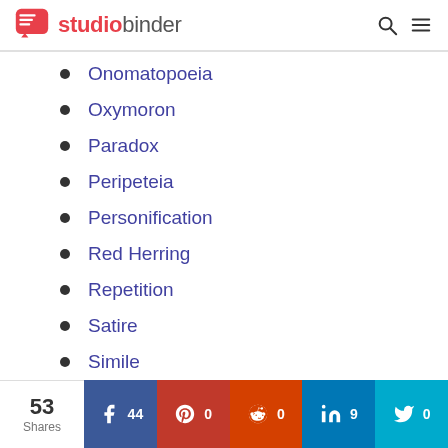studiobinder
Onomatopoeia
Oxymoron
Paradox
Peripeteia
Personification
Red Herring
Repetition
Satire
Simile
53 Shares | Facebook 44 | Pinterest 0 | Reddit 0 | LinkedIn 9 | Twitter 0